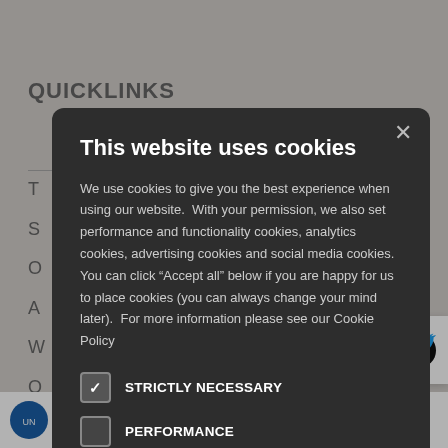[Figure (screenshot): Background webpage showing 'QUICKLINKS' heading and partial left navigation links, with a cookie consent modal dialog overlaid in the center. The modal has a dark background and contains a title, body text, and checkbox options for cookie preferences.]
This website uses cookies
We use cookies to give you the best experience when using our website. With your permission, we also set performance and functionality cookies, analytics cookies, advertising cookies and social media cookies. You can click “Accept all” below if you are happy for us to place cookies (you can always change your mind later). For more information please see our Cookie Policy
STRICTLY NECESSARY
PERFORMANCE
ANALYTICS
FUNCTIONALITY
SOCIAL MEDIA